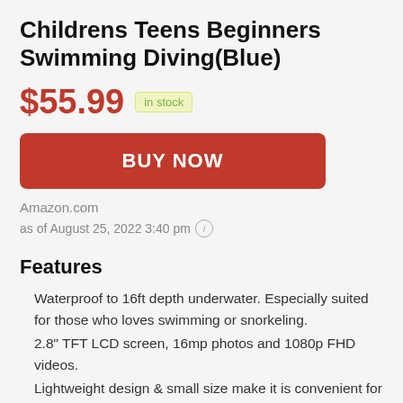Childrens Teens Beginners Swimming Diving(Blue)
$55.99  in stock
[Figure (other): BUY NOW button (red/coral rounded rectangle)]
Amazon.com
as of August 25, 2022 3:40 pm ℹ
Features
Waterproof to 16ft depth underwater. Especially suited for those who loves swimming or snorkeling.
2.8" TFT LCD screen, 16mp photos and 1080p FHD videos.
Lightweight design & small size make it is convenient for carrying around to capture happy